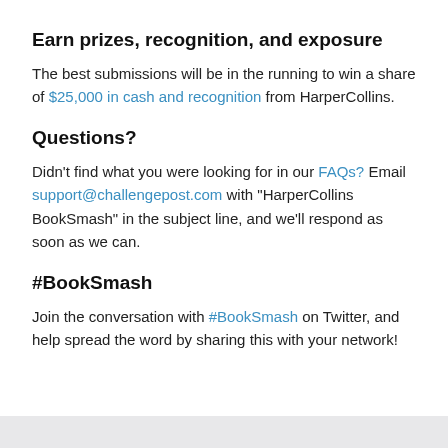Earn prizes, recognition, and exposure
The best submissions will be in the running to win a share of $25,000 in cash and recognition from HarperCollins.
Questions?
Didn't find what you were looking for in our FAQs? Email support@challengepost.com with "HarperCollins BookSmash" in the subject line, and we'll respond as soon as we can.
#BookSmash
Join the conversation with #BookSmash on Twitter, and help spread the word by sharing this with your network!